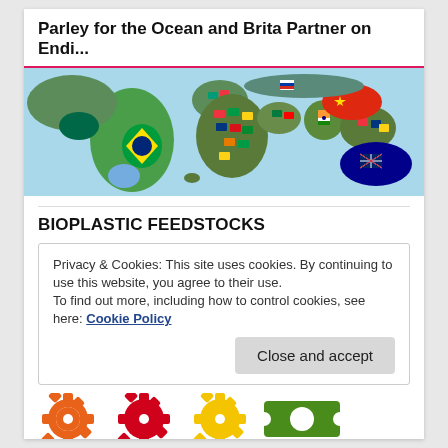Parley for the Ocean and Brita Partner on Endi...
[Figure (map): World map with country flags overlaid on each country's territory, shown against a light blue ocean background.]
BIOPLASTIC FEEDSTOCKS
Privacy & Cookies: This site uses cookies. By continuing to use this website, you agree to their use.
To find out more, including how to control cookies, see here: Cookie Policy
Close and accept
[Figure (infographic): Row of colorful gear/cog icons: orange gear, red gear, yellow gear, green rectangular icon with white circle.]